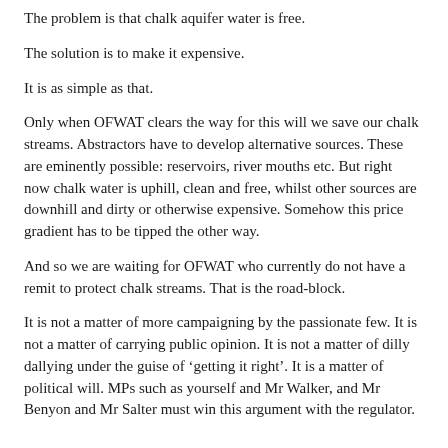The problem is that chalk aquifer water is free.
The solution is to make it expensive.
It is as simple as that.
Only when OFWAT clears the way for this will we save our chalk streams. Abstractors have to develop alternative sources. These are eminently possible: reservoirs, river mouths etc. But right now chalk water is uphill, clean and free, whilst other sources are downhill and dirty or otherwise expensive. Somehow this price gradient has to be tipped the other way.
And so we are waiting for OFWAT who currently do not have a remit to protect chalk streams. That is the road-block.
It is not a matter of more campaigning by the passionate few. It is not a matter of carrying public opinion. It is not a matter of dilly dallying under the guise of ‘getting it right’. It is a matter of political will. MPs such as yourself and Mr Walker, and Mr Benyon and Mr Salter must win this argument with the regulator.